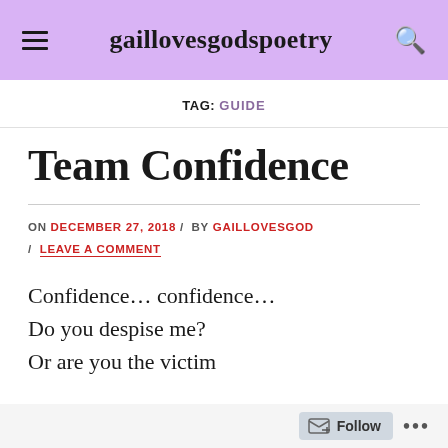gaillovesgodspoetry
TAG: GUIDE
Team Confidence
ON DECEMBER 27, 2018 / BY GAILLOVESGOD / LEAVE A COMMENT
Confidence… confidence…
Do you despise me?
Or are you the victim
Follow